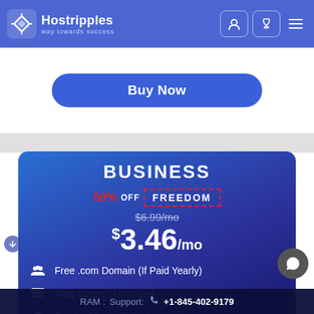Hostripples - way towards success
Buy Now
BUSINESS
50% OFF FREEDOM
$6.99/mo (strikethrough)
$3.46/mo
Free .com Domain (If Paid Yearly)
Web Space : Unlimited
Bandwidth : Unlimited
RAM : Support: +1-845-402-9179